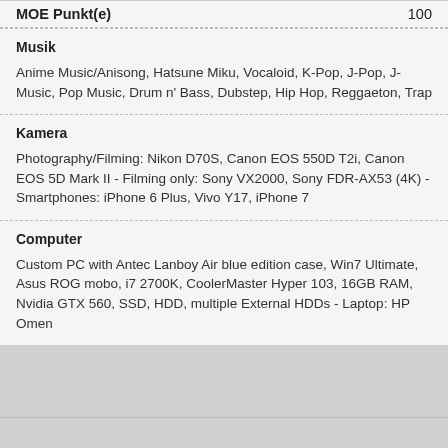| MOE Punkt(e) |  |
| --- | --- |
|  | 100 |
Musik

Anime Music/Anisong, Hatsune Miku, Vocaloid, K-Pop, J-Pop, J-Music, Pop Music, Drum n' Bass, Dubstep, Hip Hop, Reggaeton, Trap
Kamera

Photography/Filming: Nikon D70S, Canon EOS 550D T2i, Canon EOS 5D Mark II - Filming only: Sony VX2000, Sony FDR-AX53 (4K) - Smartphones: iPhone 6 Plus, Vivo Y17, iPhone 7
Computer

Custom PC with Antec Lanboy Air blue edition case, Win7 Ultimate, Asus ROG mobo, i7 2700K, CoolerMaster Hyper 103, 16GB RAM, Nvidia GTX 560, SSD, HDD, multiple External HDDs - Laptop: HP Omen